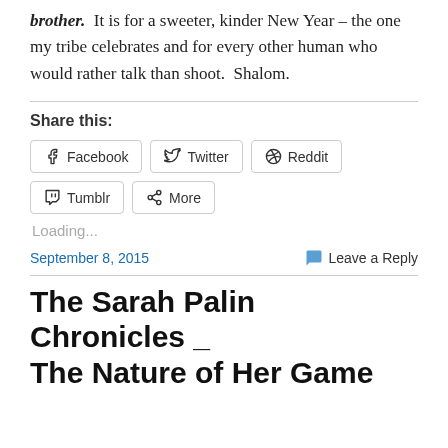brother.  It is for a sweeter, kinder New Year – the one my tribe celebrates and for every other human who would rather talk than shoot.  Shalom.
Share this:
Facebook  Twitter  Reddit  Tumblr  More
Loading...
September 8, 2015
Leave a Reply
The Sarah Palin Chronicles _ The Nature of Her Game